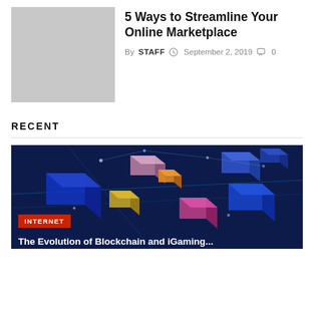[Figure (photo): Gray placeholder thumbnail image for article]
5 Ways to Streamline Your Online Marketplace
By STAFF  September 2, 2019  0
RECENT
[Figure (photo): Blockchain network visualization with colorful 3D cubes and glowing lines on dark blue background. INTERNET badge overlay. Partial title: The Evolution of Blockchain and iGaming...]